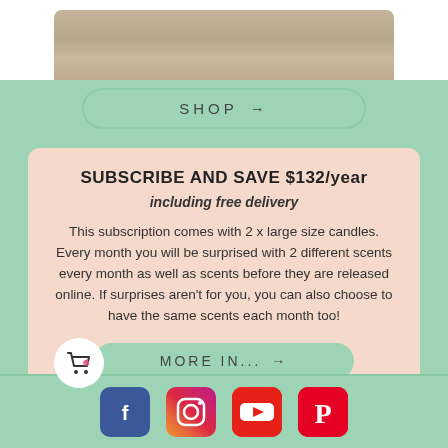[Figure (photo): Top portion of a product image showing a wooden surface texture on white background]
[Figure (other): SHOP button with arrow, rounded pill shape in mint green]
SUBSCRIBE AND SAVE $132/year
including free delivery
This subscription comes with 2 x large size candles. Every month you will be surprised with 2 different scents every month as well as scents before they are released online. If surprises aren't for you, you can also choose to have the same scents each month too!
[Figure (other): MORE IN... button with arrow, rounded pill shape in mint green]
[Figure (other): Social media icons row: Facebook, Instagram, YouTube, Pinterest]
[Figure (other): Shopping cart icon with heart, white circle background, bottom left]